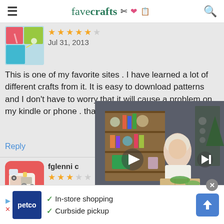favecrafts
[Figure (screenshot): Craft thumbnail image showing colorful paper and scissors]
Jul 31, 2013
This is one of my favorite sites . I have learned a lot of different crafts from it. It is easy to download patterns and I don't have to worry that it will cause a problem on my kindle or phone . thank you I lo
Reply
[Figure (screenshot): Sewing machine icon thumbnail with red background]
fglenni c
Jun 02, 2013
[Figure (screenshot): Video overlay showing woman crafting at a table with shelves in background]
In-store shopping
Curbside pickup